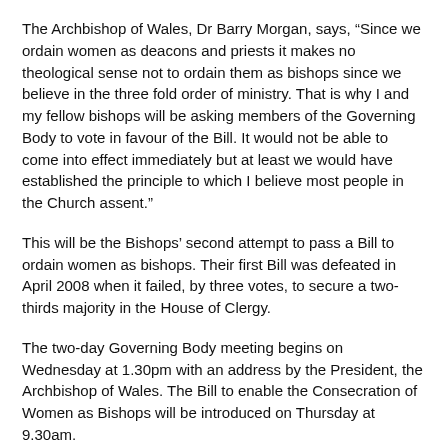The Archbishop of Wales, Dr Barry Morgan, says, “Since we ordain women as deacons and priests it makes no theological sense not to ordain them as bishops since we believe in the three fold order of ministry. That is why I and my fellow bishops will be asking members of the Governing Body to vote in favour of the Bill. It would not be able to come into effect immediately but at least we would have established the principle to which I believe most people in the Church assent.”
This will be the Bishops’ second attempt to pass a Bill to ordain women as bishops. Their first Bill was defeated in April 2008 when it failed, by three votes, to secure a two-thirds majority in the House of Clergy.
The two-day Governing Body meeting begins on Wednesday at 1.30pm with an address by the President, the Archbishop of Wales. The Bill to enable the Consecration of Women as Bishops will be introduced on Thursday at 9.30am.
Also on the Agenda are: